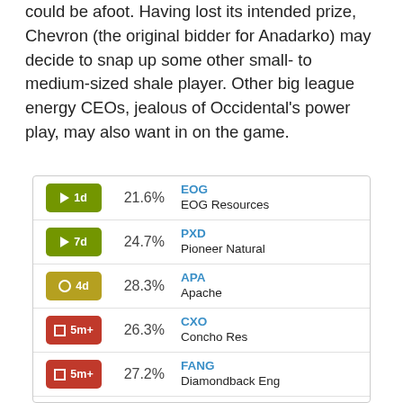could be afoot. Having lost its intended prize, Chevron (the original bidder for Anadarko) may decide to snap up some other small- to medium-sized shale player. Other big league energy CEOs, jealous of Occidental's power play, may also want in on the game.
| Signal | Pct | Ticker | Company |
| --- | --- | --- | --- |
| 1d (green triangle) | 21.6% | EOG | EOG Resources |
| 7d (green triangle) | 24.7% | PXD | Pioneer Natural |
| 4d (tan circle) | 28.3% | APA | Apache |
| 5m+ (red square) | 26.3% | CXO | Concho Res |
| 5m+ (red square) | 27.2% | FANG | Diamondback Eng |
| 6m+ (red square) | 30.8% | DVN | Devon Energy |
| 6m+ (red square) | 27.4% | NBL | Noble Energy |
| 1m+ (red square) | 34.0% | XEC | ... |